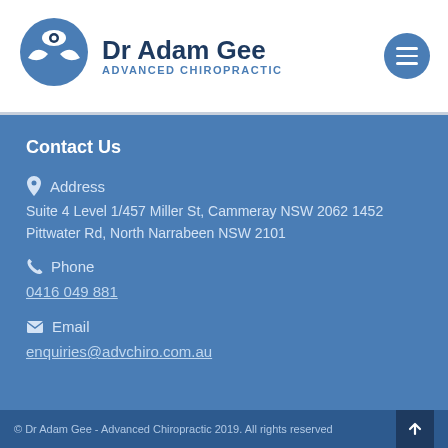[Figure (logo): Dr Adam Gee Advanced Chiropractic logo with eye/spine icon]
Contact Us
Address
Suite 4 Level 1/457 Miller St, Cammeray NSW 2062 1452
Pittwater Rd, North Narrabeen NSW 2101
Phone
0416 049 881
Email
enquiries@advchiro.com.au
© Dr Adam Gee - Advanced Chiropractic 2019. All rights reserved